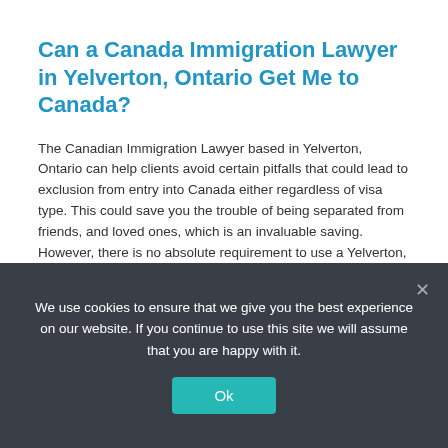Can a Canada Immigration Lawyer in Yelverton, Ontario Get Me to Canada?
The Canadian Immigration Lawyer based in Yelverton, Ontario can help clients avoid certain pitfalls that could lead to exclusion from entry into Canada either regardless of visa type. This could save you the trouble of being separated from friends, and loved ones, which is an invaluable saving. However, there is no absolute requirement to use a Yelverton, Ontario based Canada Immigration Lawyer, which is obviously an even greater saving to make, given their costly fees and rates.
There are over 100 immigration pathways to Canada. There are federal economic streams, as well as those offered by Quebec and other provinces. This variety can sometimes cause some confusion and a Canada Immigration Legal Professional in Yelverton, Ontario will be able to identify programs you may not have been previously aware of and tell you which ones you...
We use cookies to ensure that we give you the best experience on our website. If you continue to use this site we will assume that you are happy with it.